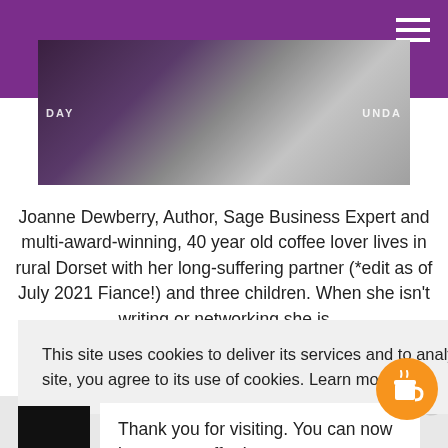[Figure (photo): Top banner image showing people at an event with purple header bar and hamburger menu icon]
Joanne Dewberry, Author, Sage Business Expert and multi-award-winning, 40 year old coffee lover lives in rural Dorset with her long-suffering partner (*edit as of July 2021 Fiance!) and three children. When she isn't writing or networking she is
This site uses cookies to deliver its services and to analyse traffic. By using this site, you agree to its use of cookies. Learn more
Thank you for visiting. You can now buy me a coffee!
[Figure (illustration): Coffee cup icon on orange circle button]
[Figure (photo): Bottom strip showing partial text 'Small' in green italic]